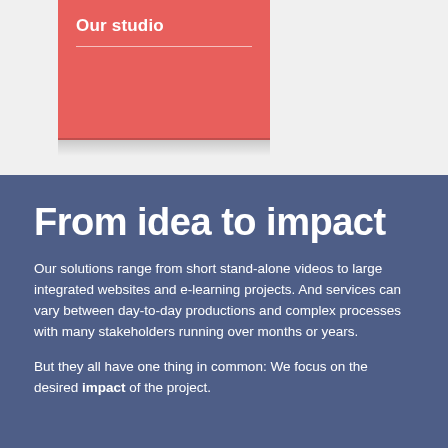Our studio
From idea to impact
Our solutions range from short stand-alone videos to large integrated websites and e-learning projects. And services can vary between day-to-day productions and complex processes with many stakeholders running over months or years.
But they all have one thing in common: We focus on the desired impact of the project.